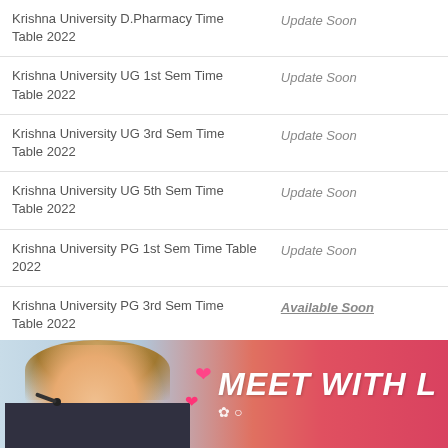| Course | Status |
| --- | --- |
| Krishna University D.Pharmacy Time Table 2022 | Update Soon |
| Krishna University UG 1st Sem Time Table 2022 | Update Soon |
| Krishna University UG 3rd Sem Time Table 2022 | Update Soon |
| Krishna University UG 5th Sem Time Table 2022 | Update Soon |
| Krishna University PG 1st Sem Time Table 2022 | Update Soon |
| Krishna University PG 3rd Sem Time Table 2022 | Available Soon |
[Figure (photo): Advertisement banner showing a woman with a headset smiling, with pink/orange gradient background, hearts, and text 'MEET WITH L']